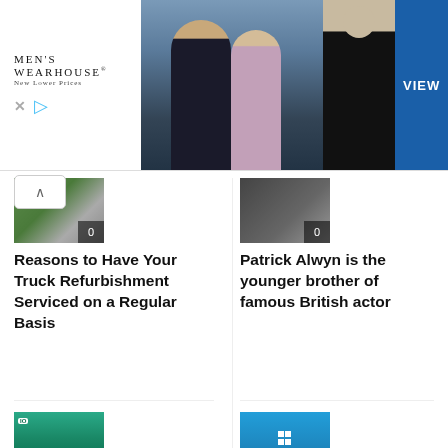[Figure (photo): Men's Wearhouse advertisement banner with couple in formalwear and a man in suit, VIEW button]
[Figure (photo): Thumbnail image for truck refurbishment article with badge showing 0 comments]
Reasons to Have Your Truck Refurbishment Serviced on a Regular Basis
[Figure (photo): Thumbnail image for Patrick Alwyn article with badge showing 0 comments]
Patrick Alwyn is the younger brother of famous British actor
[Figure (photo): Thumbnail image for smartphone article with badge showing 0 comments]
7 Factors to Consider While Buying a Smartphone
[Figure (screenshot): Windows 11 logo thumbnail with badge showing 0 comments]
Windows 11 Messages Error Code 0C1900101-0x20009s